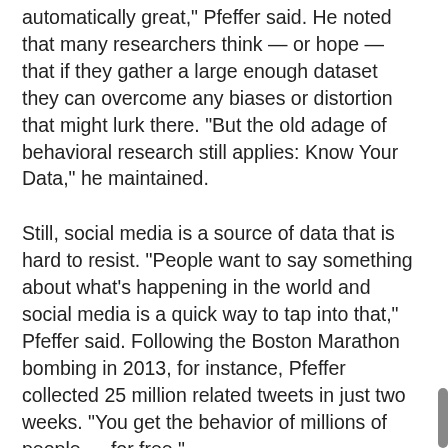automatically great," Pfeffer said. He noted that many researchers think — or hope — that if they gather a large enough dataset they can overcome any biases or distortion that might lurk there. "But the old adage of behavioral research still applies: Know Your Data," he maintained.
Still, social media is a source of data that is hard to resist. "People want to say something about what's happening in the world and social media is a quick way to tap into that," Pfeffer said. Following the Boston Marathon bombing in 2013, for instance, Pfeffer collected 25 million related tweets in just two weeks. "You get the behavior of millions of people — for free."
The type of questions that researchers can now tackle can be compelling. Want to know how people perceive e-cigarettes? How people communicate their anxieties about